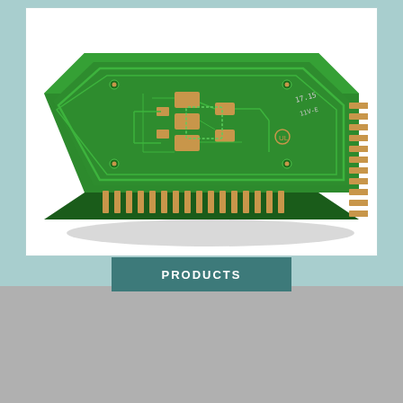[Figure (photo): A green PCB (printed circuit board) module with gold-plated pins along the bottom and right edges, surface-mounted components and circuit traces visible on top, photographed at an angle on a white background.]
PRODUCTS
Cookies are necessary to provide you with our services. By continuing your visit on the website, you consent to the use of cookies.